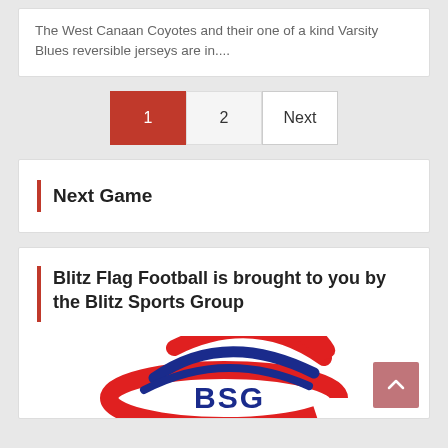The West Canaan Coyotes and their one of a kind Varsity Blues reversible jerseys are in....
1  2  Next
Next Game
Blitz Flag Football is brought to you by the Blitz Sports Group
[Figure (logo): BSG (Blitz Sports Group) logo with red and blue swoosh design and 'BSG' text]